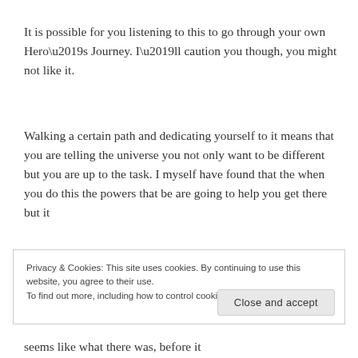It is possible for you listening to this to go through your own Hero’s Journey. I’ll caution you though, you might not like it.
Walking a certain path and dedicating yourself to it means that you are telling the universe you not only want to be different but you are up to the task. I myself have found that the when you do this the powers that be are going to help you get there but it
Privacy & Cookies: This site uses cookies. By continuing to use this website, you agree to their use.
To find out more, including how to control cookies, see here: Cookie Policy
seems like what there was, before it